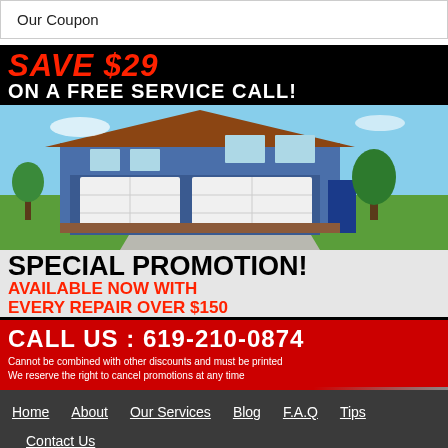Our Coupon
[Figure (infographic): Garage door repair coupon advertisement. Black background with 'SAVE $29 ON A FREE SERVICE CALL!' in red/white bold text. Photo of blue suburban house with white garage doors. Text: 'SPECIAL PROMOTION! AVAILABLE NOW WITH EVERY REPAIR OVER $150'. Red bar: 'CALL US : 619-210-0874'. Fine print: 'Cannot be combined with other discounts and must be printed. We reserve the right to cancel promotions at any time.']
Home   About   Our Services   Blog   F.A.Q   Tips   Contact Us
Garage Door Repair Lemon Grove, 619-210-0874, Broadway, Lemon Grove, California, 91945, http://www.overheadgaragedoorlemongrove.com/